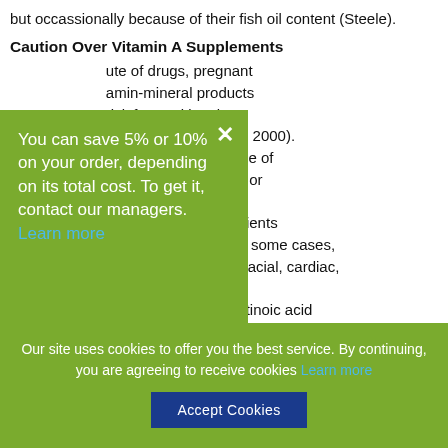but occassionally because of their fish oil content (Steele).
Caution Over Vitamin A Supplements
ute of drugs, pregnant amin-mineral products risk for nutritional Research Newsletter, 2000). stent disease or abuse of r tobacco. Unneeded or might cause harm. ons of retinoid ingredients during the first trimester possess, in some cases, proven to have induced fetal craniofacial, cardiac, thymic and central nervous system abnormalities. This can be called retinoic acid embryopathy (Nutrition Study Newsletter).
You can save 5% or 10% on your order, depending on its total cost. To get it, contact our managers. Learn more
Our site uses cookies to offer you the best service. By continuing, you are agreeing to receive cookies Learn more
Accept Cookies